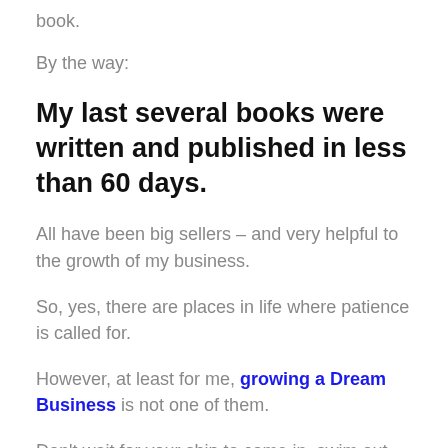book.
By the way:
My last several books were written and published in less than 60 days.
All have been big sellers – and very helpful to the growth of my business.
So, yes, there are places in life where patience is called for.
However, at least for me, growing a Dream Business is not one of them.
Don't wait for your ship to come in, swim out